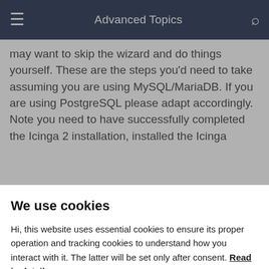Advanced Topics
may want to skip the wizard and do things yourself. These are the steps you'd need to take assuming you are using MySQL/MariaDB. If you are using PostgreSQL please adapt accordingly. Note you need to have successfully completed the Icinga 2 installation, installed the Icinga
We use cookies
Hi, this website uses essential cookies to ensure its proper operation and tracking cookies to understand how you interact with it. The latter will be set only after consent. Read in detail
Accept all
Reject all
4. Insert administrator user in the icingaweb2 database: